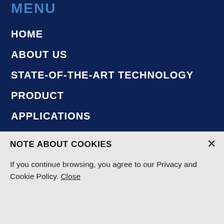MENU
HOME
ABOUT US
STATE-OF-THE-ART TECHNOLOGY
PRODUCT
APPLICATIONS
CONTACT US
[Figure (logo): Row of certification/partner logos: government crest logo, diagonal stripe logo, green globe logo, Kiwa logo on red background]
NOTE ABOUT COOKIES
If you continue browsing, you agree to our Privacy and Cookie Policy. Close